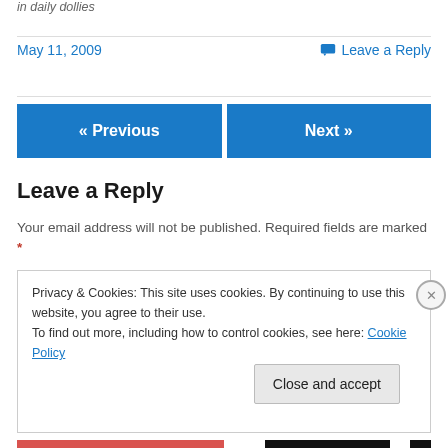in  daily dollies
May 11, 2009
Leave a Reply
« Previous
Next »
Leave a Reply
Your email address will not be published. Required fields are marked *
Privacy & Cookies: This site uses cookies. By continuing to use this website, you agree to their use.
To find out more, including how to control cookies, see here: Cookie Policy
Close and accept